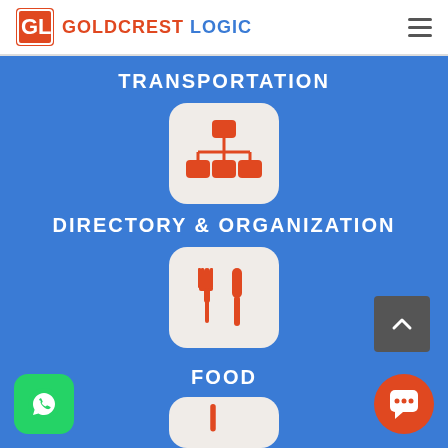[Figure (logo): Goldcrest Logic logo with GL icon in red/orange square and company name in red and blue]
TRANSPORTATION
[Figure (illustration): Orange organizational chart / hierarchy icon on beige rounded square background]
DIRECTORY & ORGANIZATION
[Figure (illustration): Orange fork and knife icon on beige rounded square background]
FOOD
[Figure (illustration): Partial view of another icon box at bottom]